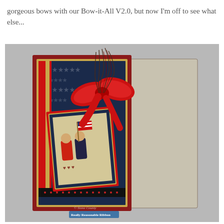gorgeous bows with our Bow-it-All V2.0, but now I'm off to see what else...
[Figure (photo): A patriotic handmade greeting card with navy blue star-patterned paper, red borders, a large red satin bow, decorative feathers at the top, and a center tag featuring folk-art style figures holding an American flag with heart embellishments. The card is shown standing open on a gray background. A watermark reads 'Really Reasonable Ribbon'.]